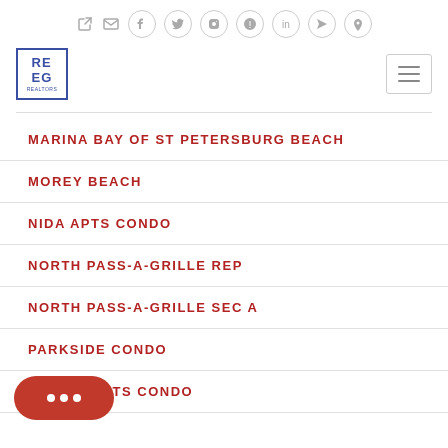REEG real estate website header with logo and navigation icons
MARINA BAY OF ST PETERSBURG BEACH
MOREY BEACH
NIDA APTS CONDO
NORTH PASS-A-GRILLE REP
NORTH PASS-A-GRILLE SEC A
PARKSIDE CONDO
...WEST APTS CONDO